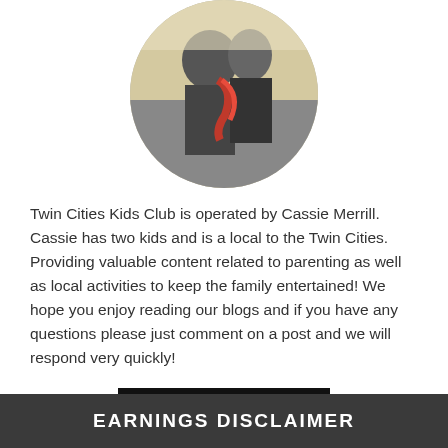[Figure (photo): Circular profile photo of two people, one wearing a red scarf, outdoor setting]
Twin Cities Kids Club is operated by Cassie Merrill. Cassie has two kids and is a local to the Twin Cities. Providing valuable content related to parenting as well as local activities to keep the family entertained! We hope you enjoy reading our blogs and if you have any questions please just comment on a post and we will respond very quickly!
LEARN MORE
EARNINGS DISCLAIMER